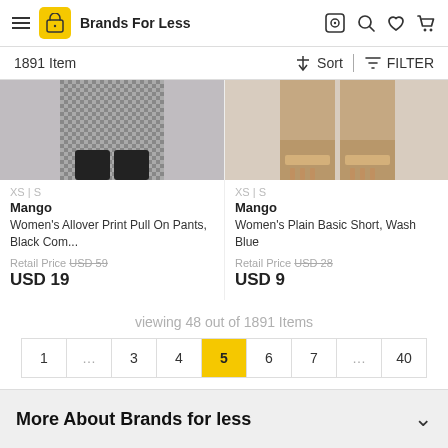Brands For Less
1891 Item
[Figure (photo): Cropped product photo showing lower body with black patterned pants and black heels]
XS | S
Mango
Women's Allover Print Pull On Pants, Black Com...
Retail Price USD 59
USD 19
[Figure (photo): Cropped product photo showing legs wearing tan/nude strappy heeled sandals]
XS | S
Mango
Women's Plain Basic Short, Wash Blue
Retail Price USD 28
USD 9
viewing 48 out of 1891 Items
1 … 3 4 5 6 7 … 40
More About Brands for less